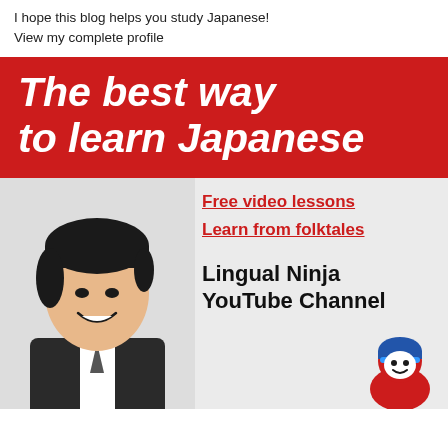I hope this blog helps you study Japanese!
View my complete profile
[Figure (infographic): Red banner advertisement with white italic bold text reading 'The best way to learn Japanese', followed by a light gray section with a smiling Japanese man's photo on the left, red underlined links 'Free video lessons' and 'Learn from folktales' on the right, bold text 'Lingual Ninja YouTube Channel', and a ninja mascot cartoon at bottom right.]